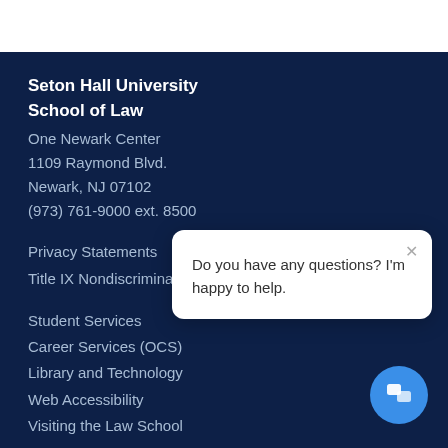Seton Hall University
School of Law
One Newark Center
1109 Raymond Blvd.
Newark, NJ 07102
(973) 761-9000 ext. 8500
Privacy Statements
Title IX Nondiscrimination
Student Services
Career Services (OCS)
Library and Technology
Web Accessibility
Visiting the Law School
[Figure (screenshot): Chat popup with text: Do you have any questions? I'm happy to help. and a blue chat button in the bottom right.]